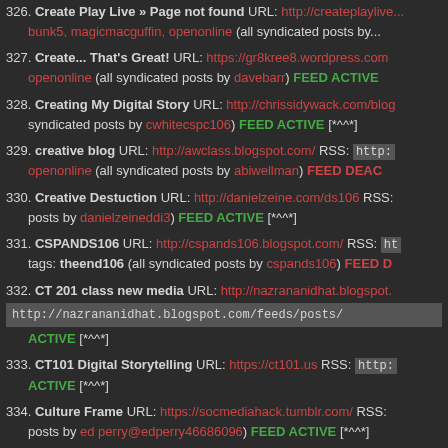326. Create Play Live » Page not found URL: http://createplaylive... bunk5, magicmacguffin, openonline (all syndicated posts by...
327. Create... That's Great! URL: https://gr8kree8.wordpress.com openonline (all syndicated posts by davebarr) FEED ACTIVE
328. Creating My Digital Story URL: http://chrissidywack.com/blog syndicated posts by cwhitecspc106) FEED ACTIVE [*^^*]
329. creative blog URL: http://awclass.blogspot.com/ RSS: http:... openonline (all syndicated posts by abiwellman) FEED DEAC...
330. Creative Destuction URL: http://danielzeine.com/ds106 RSS:... posts by danielzeineddi3) FEED ACTIVE [*^^*]
331. CSPANDS106 URL: http://cspands106.blogspot.com/ RSS: ht... tags: theend106 (all syndicated posts by cspands106) FEED D...
332. CT 201 class new media URL: http://nazrananidhat.blogspot... http://nazrananidhat.blogspot.com/feeds/posts/ ACTIVE [*^^*]
333. CT101 Digital Storytelling URL: https://ct101.us RSS: http:... ACTIVE [*^^*]
334. Culture Frame URL: https://socmediahack.tumblr.com/ RSS:... posts by ed perry@edperry46686096) FEED ACTIVE [*^^*]